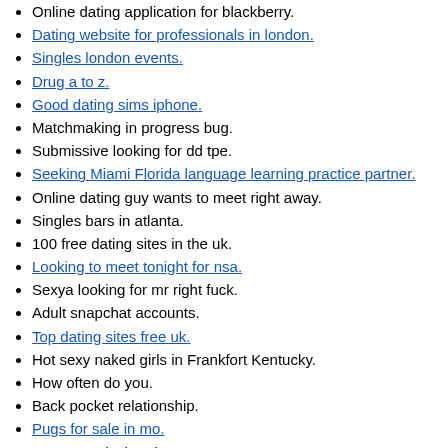Online dating application for blackberry.
Dating website for professionals in london.
Singles london events.
Drug a to z.
Good dating sims iphone.
Matchmaking in progress bug.
Submissive looking for dd tpe.
Seeking Miami Florida language learning practice partner.
Online dating guy wants to meet right away.
Singles bars in atlanta.
100 free dating sites in the uk.
Looking to meet tonight for nsa.
Sexya looking for mr right fuck.
Adult snapchat accounts.
Top dating sites free uk.
Hot sexy naked girls in Frankfort Kentucky.
How often do you.
Back pocket relationship.
Pugs for sale in mo.
Massage pittsburgh pa area.
Free sex tonight wausau wi only. Swinging..
Sister caught masterbaiting.
Schneider trucking tanker division.
Muslim dating in uk.
Woman wants sex tonight Lake Arrowhead.
Thai land adult holiday.